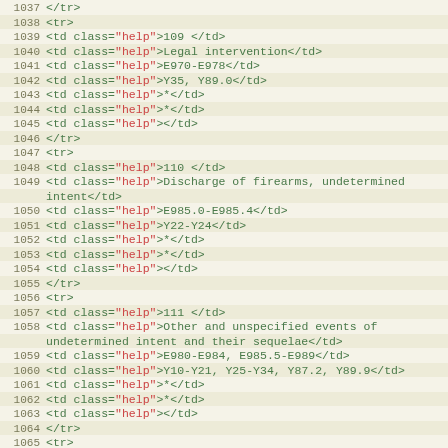Code editor view showing HTML source lines 1037-1067, with line numbers and syntax-highlighted HTML containing table row markup with td elements using class="help" and text content for medical coding data.